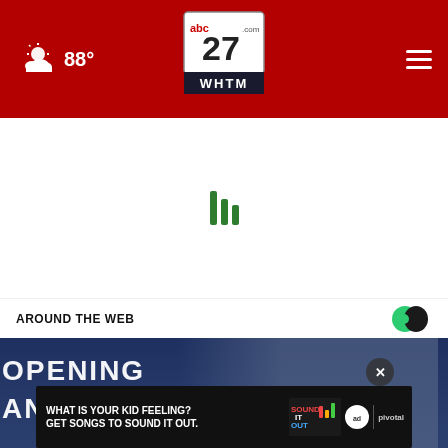abc27.com WHTM — 88° — navigation header
[Figure (screenshot): Green loading bars spinner in white space area below header]
AROUND THE WEB
[Figure (photo): Photo of Dr. Fauci and Dr. Birx at a podium with partial text OPENING in background, with ad overlay showing 'WHAT IS YOUR KID FEELING? GET SONGS TO SOUND IT OUT.' and ad council / pivotal logos, and a close button X]
WHAT IS YOUR KID FEELING? GET SONGS TO SOUND IT OUT.